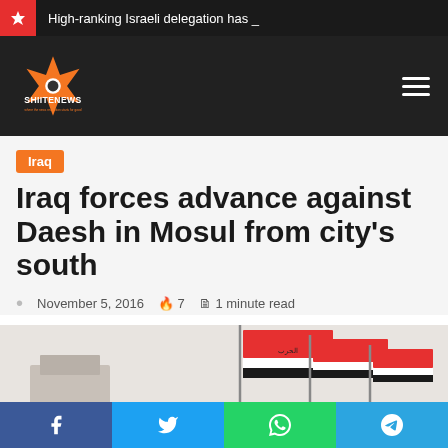High-ranking Israeli delegation has _
[Figure (logo): ShiiteNews logo with orange star/compass emblem and white text SHIITENEWS]
Iraq
Iraq forces advance against Daesh in Mosul from city's south
November 5, 2016  🔥 7  📄 1 minute read
[Figure (photo): Iraqi flags (red, white, black horizontal stripes) on flagpoles against a light sky background]
Facebook  Twitter  WhatsApp  Telegram